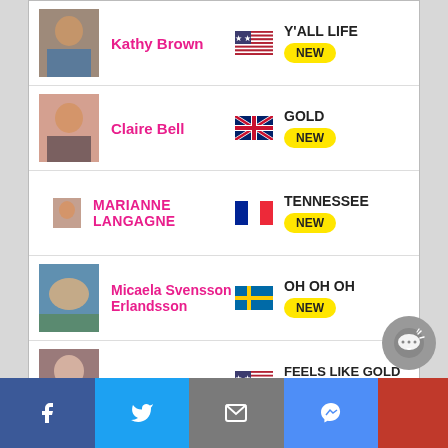Kathy Brown — Y'ALL LIFE — NEW
Claire Bell — GOLD — NEW
MARIANNE LANGAGNE — TENNESSEE — NEW
Micaela Svensson Erlandsson — OH OH OH — NEW
Linda Scott — FEELS LIKE GOLD — NEW
[Figure (screenshot): Bottom social share bar with Facebook, Twitter, Email, Messenger, and red section buttons]